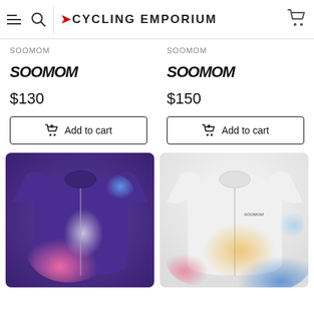CYCLING EMPORIUM
SOOMOM
SOOMOM
[Figure (logo): SOOMOM brand logo in bold italic black letters]
[Figure (logo): SOOMOM brand logo in bold italic black letters]
$130
$150
Add to cart
Add to cart
[Figure (photo): Blue/purple gradient cycling jersey with pink and white gradient blobs on dark blue background]
[Figure (photo): White cycling jersey with colorful gradient blobs in pink, yellow, and blue]